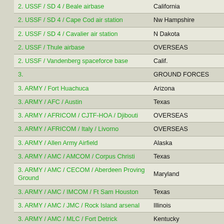| Location | State/Region |
| --- | --- |
| 2. USSF / SD 4 / Beale airbase | California |
| 2. USSF / SD 4 / Cape Cod air station | Nw Hampshire |
| 2. USSF / SD 4 / Cavalier air station | N Dakota |
| 2. USSF / Thule airbase | OVERSEAS |
| 2. USSF / Vandenberg spaceforce base | Calif. |
| 3. | GROUND FORCES |
| 3. ARMY / Fort Huachuca | Arizona |
| 3. ARMY / AFC / Austin | Texas |
| 3. ARMY / AFRICOM / CJTF-HOA / Djibouti | OVERSEAS |
| 3. ARMY / AFRICOM / Italy / Livorno | OVERSEAS |
| 3. ARMY / Allen Army Airfield | Alaska |
| 3. ARMY / AMC / AMCOM / Corpus Christi | Texas |
| 3. ARMY / AMC / CECOM / Aberdeen Proving Ground | Maryland |
| 3. ARMY / AMC / IMCOM / Ft Sam Houston | Texas |
| 3. ARMY / AMC / JMC / Rock Island arsenal | Illinois |
| 3. ARMY / AMC / MLC / Fort Detrick | Kentucky |
| 3. ARMY / AMC / Redstone arsenal | Alabama |